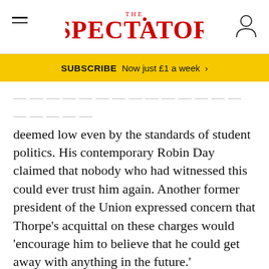THE SPECTATOR
SUBSCRIBE  Now just £1 a week  >
deemed low even by the standards of student politics. His contemporary Robin Day claimed that nobody who had witnessed this could ever trust him again. Another former president of the Union expressed concern that Thorpe's acquittal on these charges would 'encourage him to believe that he could get away with anything in the future.'
And so we come to Thorpe's political career. He was a Liberal party man by association and perhaps by nature, having breathed from the Lloyd Georges the remnants of that tradition. The party may have been at its lowest ebb when he joined it, but that